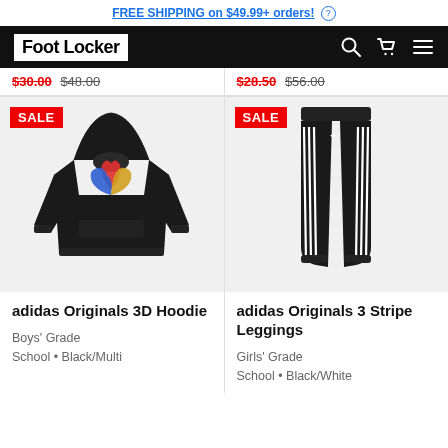FREE SHIPPING on $49.99+ orders! (?)
[Figure (logo): Foot Locker navigation bar with logo, search, cart, and menu icons]
$30.00 $48.00   $28.50 $56.00
[Figure (photo): adidas Originals 3D Hoodie in black with colorful trefoil logo, SALE badge]
[Figure (photo): adidas Originals 3 Stripe Leggings in black with white stripes, SALE badge]
adidas Originals 3D Hoodie
Boys' Grade School • Black/Multi
adidas Originals 3 Stripe Leggings
Girls' Grade School • Black/White